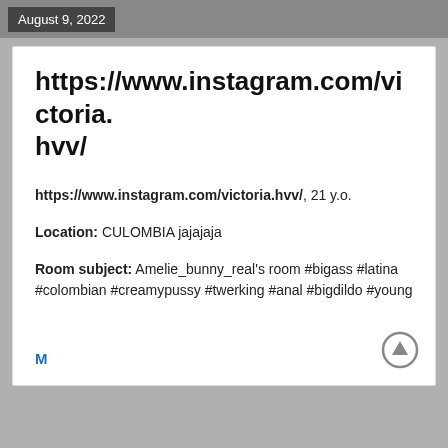August 9, 2022
https://www.instagram.com/victoria.hvv/
https://www.instagram.com/victoria.hvv/, 21 y.o.
Location: CULOMBIA jajajaja
Room subject: Amelie_bunny_real's room #bigass #latina #colombian #creamypussy #twerking #anal #bigdildo #young
M